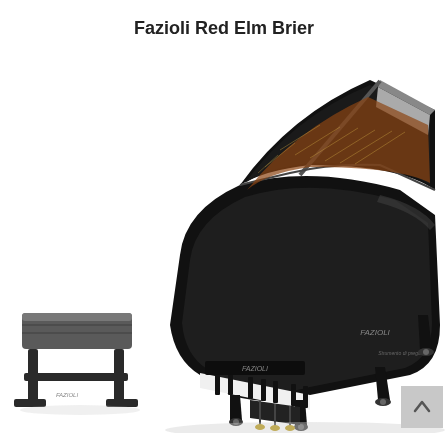Fazioli Red Elm Brier
[Figure (photo): A Fazioli grand piano in glossy black finish with the lid open, shown from a three-quarter angle. A matching black Fazioli piano bench is positioned to the left. The piano has four legs with casters, and the Fazioli logo appears on both the fallboard and the side panel. The background is white.]